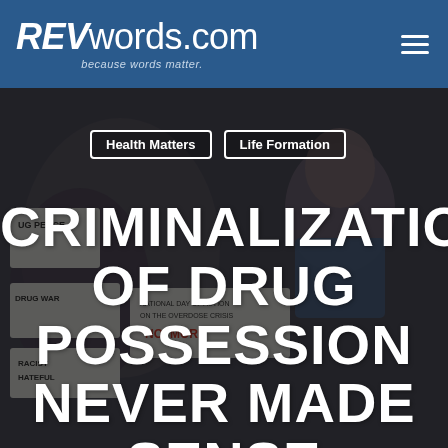REVwords.com — because words matter.
[Figure (photo): Protest scene with people holding signs including 'Drug Peace', 'Drug War', 'Racist Hateful', 'National Day of Action on the Overdose Crisis', 'No More'. A woman in a blue denim jacket is prominently visible in the foreground.]
Health Matters   Life Formation
CRIMINALIZATION OF DRUG POSSESSION NEVER MADE SENSE